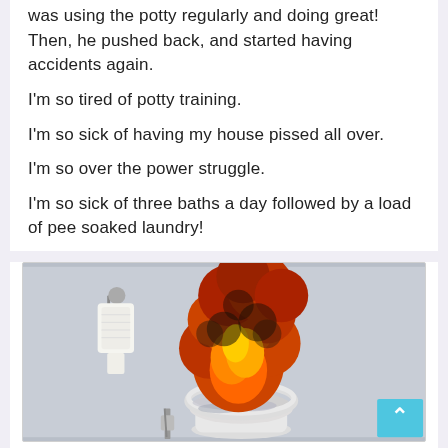was using the potty regularly and doing great! Then, he pushed back, and started having accidents again.
I'm so tired of potty training.
I'm so sick of having my house pissed all over.
I'm so over the power struggle.
I'm so sick of three baths a day followed by a load of pee soaked laundry!
[Figure (photo): A humorous photo of a white toilet with a large explosion/fireball erupting from it, set against a grey wall with a toilet paper roll hanging on the wall to the left. A toilet brush is visible at the bottom left. A light blue back-to-top button is visible in the bottom right corner.]